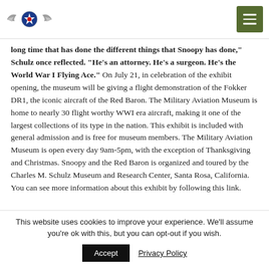[Military Aviation Museum logo] [Menu button]
long time that has done the different things that Snoopy has done," Schulz once reflected. "He's an attorney. He's a surgeon. He's the World War I Flying Ace." On July 21, in celebration of the exhibit opening, the museum will be giving a flight demonstration of the Fokker DR1, the iconic aircraft of the Red Baron. The Military Aviation Museum is home to nearly 30 flight worthy WWI era aircraft, making it one of the largest collections of its type in the nation. This exhibit is included with general admission and is free for museum members. The Military Aviation Museum is open every day 9am-5pm, with the exception of Thanksgiving and Christmas. Snoopy and the Red Baron is organized and toured by the Charles M. Schulz Museum and Research Center, Santa Rosa, California. You can see more information about this exhibit by following this link.
This website uses cookies to improve your experience. We'll assume you're ok with this, but you can opt-out if you wish.
Accept  Privacy Policy